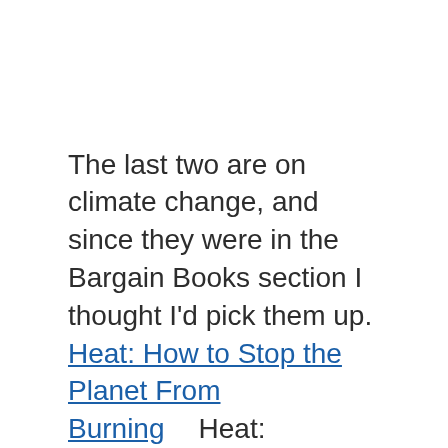The last two are on climate change, and since they were in the Bargain Books section I thought I'd pick them up. Heat: How to Stop the Planet From Burning Heat: